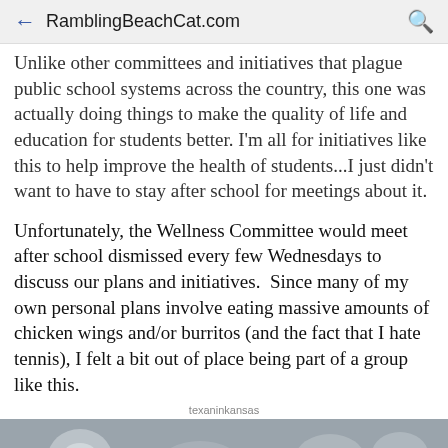← RamblingBeachCat.com 🔍
Unlike other committees and initiatives that plague public school systems across the country, this one was actually doing things to make the quality of life and education for students better. I'm all for initiatives like this to help improve the health of students...I just didn't want to have to stay after school for meetings about it.
Unfortunately, the Wellness Committee would meet after school dismissed every few Wednesdays to discuss our plans and initiatives.  Since many of my  own personal plans involve eating massive amounts of chicken wings and/or burritos (and the fact that I hate tennis), I felt a bit out of place being part of a group like this.
texaninkansas
[Figure (photo): Black and white close-up photo of what appears to be small round objects, possibly marbles or balls]